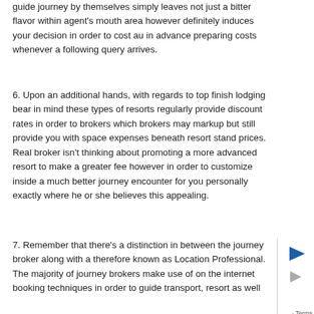guide journey by themselves simply leaves not just a bitter flavor within agent's mouth area however definitely induces your decision in order to cost au in advance preparing costs whenever a following query arrives.
6. Upon an additional hands, with regards to top finish lodging bear in mind these types of resorts regularly provide discount rates in order to brokers which brokers may markup but still provide you with space expenses beneath resort stand prices. Real broker isn't thinking about promoting a more advanced resort to make a greater fee however in order to customize inside a much better journey encounter for you personally exactly where he or she believes this appealing.
7. Remember that there's a distinction in between the journey broker along with a therefore known as Location Professional. The majority of journey brokers make use of on the internet booking techniques in order to guide transport, resort as well